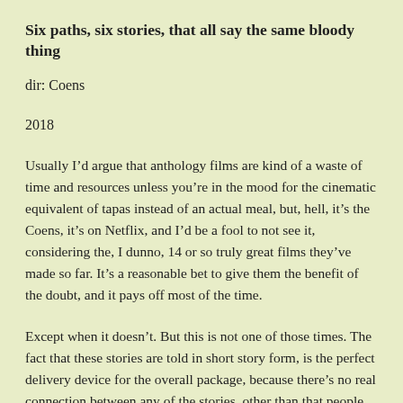Six paths, six stories, that all say the same bloody thing
dir: Coens
2018
Usually I’d argue that anthology films are kind of a waste of time and resources unless you’re in the mood for the cinematic equivalent of tapas instead of an actual meal, but, hell, it’s the Coens, it’s on Netflix, and I’d be a fool to not see it, considering the, I dunno, 14 or so truly great films they’ve made so far. It’s a reasonable bet to give them the benefit of the doubt, and it pays off most of the time.
Except when it doesn’t. But this is not one of those times. The fact that these stories are told in short story form, is the perfect delivery device for the overall package, because there’s no real connection between any of the stories, other than that people suck. It’s not the first time the Coens have ventured in the realm of the Western, but it’s the most recent, and probably the funniest. There is a certain mordent grimness as well, which befits the frontier setting, one